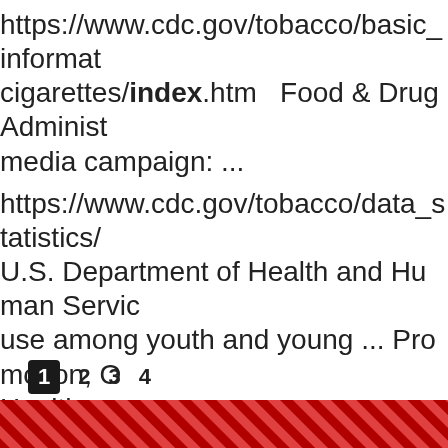https://www.cdc.gov/tobacco/basic_information/cigarettes/index.htm   Food & Drug Administration media campaign: ... https://www.cdc.gov/tobacco/data_statistics/ U.S. Department of Health and Human Services use among youth and young ... Promotion, Office of Health. https://www.surgeongeneral.gov/library/201 ...
1  2  3  4